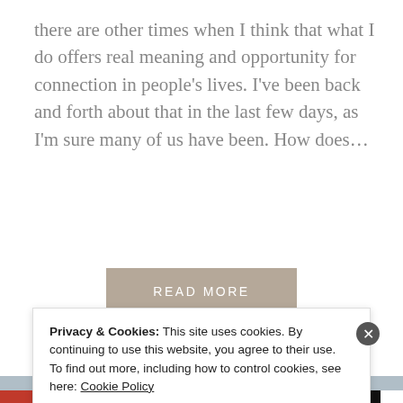there are other times when I think that what I do offers real meaning and opportunity for connection in people's lives. I've been back and forth about that in the last few days, as I'm sure many of us have been. How does...
READ MORE
[Figure (photo): A beach or snowy landscape photo showing a grey-blue textured surface, possibly sand or snow, with a small bird or object visible in the upper right area.]
Privacy & Cookies: This site uses cookies. By continuing to use this website, you agree to their use.
To find out more, including how to control cookies, see here: Cookie Policy
Close and accept